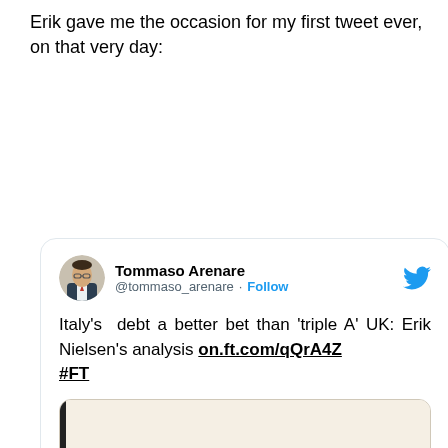Erik gave me the occasion for my first tweet ever, on that very day:
[Figure (screenshot): Screenshot of a tweet by @tommaso_arenare (Tommaso Arenare) with Follow button and Twitter bird logo. Tweet text: Italy's debt a better bet than 'triple A' UK: Erik Nielsen's analysis on.ft.com/qQrA4Z #FT. Includes a Financial Times article preview card with the Financial Times logo on a cream background and ft.com footer text.]